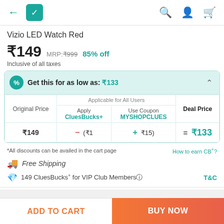Navigation bar with back arrow, bag icon, search, account, cart icons
Vizio LED Watch Red
₹149  MRP:₹999  85% off
Inclusive of all taxes
| Original Price | Applicable for All Users - Apply CluesBucks+ | Applicable for All Users - Use Coupon MYSHOPCLUES | Deal Price |
| --- | --- | --- | --- |
| ₹149 | (₹1 | ₹15) | ₹133 |
*All discounts can be availed in the cart page
How to earn CB+?
Free Shipping
149 CluesBucks+ for VIP Club Members
T&C
ADD TO CART
BUY NOW